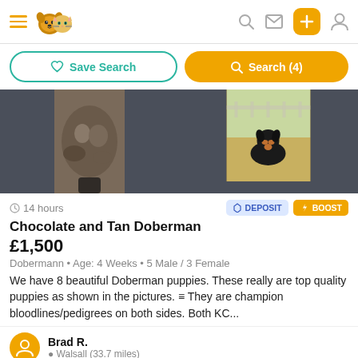Navigation header with hamburger menu, dog/cat logo, search icon, mail icon, plus button, user icon
Save Search | Search (4)
[Figure (photo): Two pet listing photos side by side. Left: dark background with a central photo of Doberman puppies. Right: dark background with a photo of a black and tan Doberman puppy sitting in a field.]
14 hours
DEPOSIT
BOOST
Chocolate and Tan Doberman
£1,500
Dobermann • Age: 4 Weeks • 5 Male / 3 Female
We have 8 beautiful Doberman puppies. These really are top quality puppies as shown in the pictures. ≡ They are champion bloodlines/pedigrees on both sides. Both KC...
Brad R.